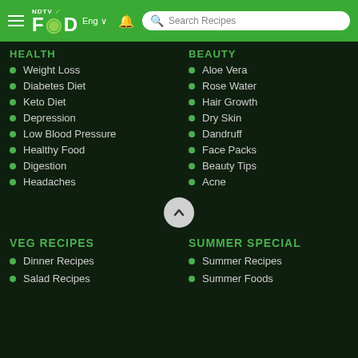NDTV FOOD — Eng | Search Recipes
HEALTH
BEAUTY
Weight Loss
Aloe Vera
Diabetes Diet
Rose Water
Keto Diet
Hair Growth
Depression
Dry Skin
Low Blood Pressure
Dandruff
Healthy Food
Face Packs
Digestion
Beauty Tips
Headaches
Acne
VEG RECIPES
SUMMER SPECIAL
Dinner Recipes
Summer Recipes
Salad Recipes
Summer Foods